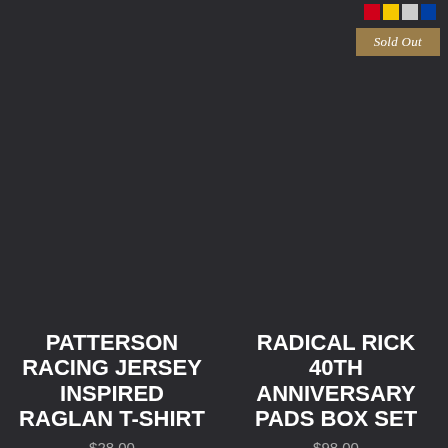[Figure (other): Color swatches (red, yellow, white/image, blue) in top right corner]
Sold Out
PATTERSON RACING JERSEY INSPIRED RAGLAN T-SHIRT
$28.00
Sold Out
RADICAL RICK 40TH ANNIVERSARY PADS BOX SET
$98.00